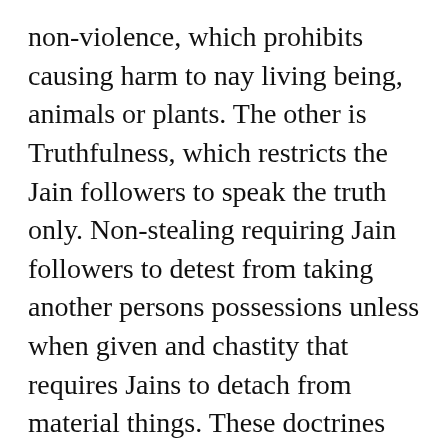non-violence, which prohibits causing harm to nay living being, animals or plants. The other is Truthfulness, which restricts the Jain followers to speak the truth only. Non-stealing requiring Jain followers to detest from taking another persons possessions unless when given and chastity that requires Jains to detach from material things. These doctrines are taught to the followers of the religion are meant to be held dear at the heart of the followers.
Organizational dimension
The Supreme Being in the Jain religion